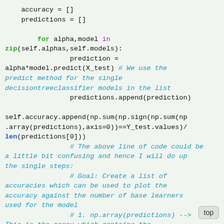accuracy = []
    predictions = []

        for alpha,model in
zip(self.alphas,self.models):
                prediction =
alpha*model.predict(X_test) # We use the predict method for the single decisiontreeclassifier models in the list
                predictions.append(prediction)

self.accuracy.append(np.sum(np.sign(np.sum(np
.array(predictions),axis=0))==Y_test.values)/
len(predictions[0]))
                # The above line of code could be a little bit confusing and hence I will do up the single steps:
                # Goal: Create a list of accuracies which can be used to plot the accuracy against the number of base learners used for the model
                # 1. np.array(predictions) --> This is the array which contains the predictions of the single models. It has the shape 8124xn
                # and hence looks like
[[0.998,0.87,...0.87...],[...],[...],
[0.99,1.23,    1.05,0.99,   ]]